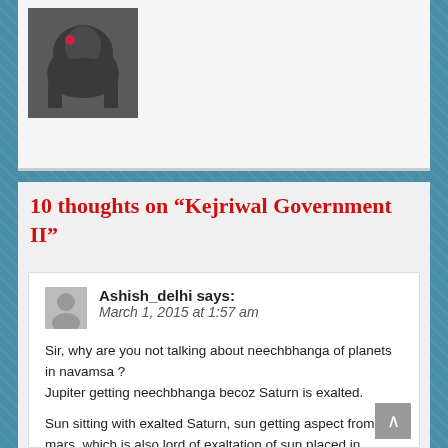[Figure (photo): A dark sculptural figure or statue image, partially visible at top left of the page]
10 thoughts on “Kejriwal Government II”
Ashish_delhi says: March 1, 2015 at 1:57 am
Sir, why are you not talking about neechbhanga of planets in navamsa ?
Jupiter getting neechbhanga becoz Saturn is exalted.
Sun sitting with exalted Saturn, sun getting aspect from mars, which is also lord of exaltation of sun placed in kendra. Also Venus is in kendra from moon lagna, Venus is lord of debilitation of sun.
Mars is getting aspected by jupiter, neech planet getting aspected by another planet which is ...